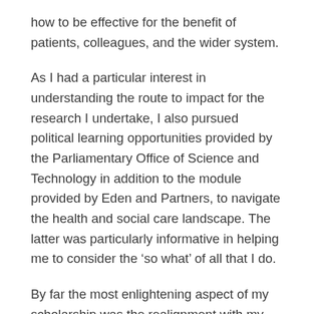how to be effective for the benefit of patients, colleagues, and the wider system.
As I had a particular interest in understanding the route to impact for the research I undertake, I also pursued political learning opportunities provided by the Parliamentary Office of Science and Technology in addition to the module provided by Eden and Partners, to navigate the health and social care landscape. The latter was particularly informative in helping me to consider the ‘so what’ of all that I do.
By far the most enlightening aspect of my scholarship was the realignment with my nursing profession that occurred across the year. Nursing academics carve a difficult path and do not follow a well-trodden route to achieve their successes. I was fortunate to have had excellent supervision